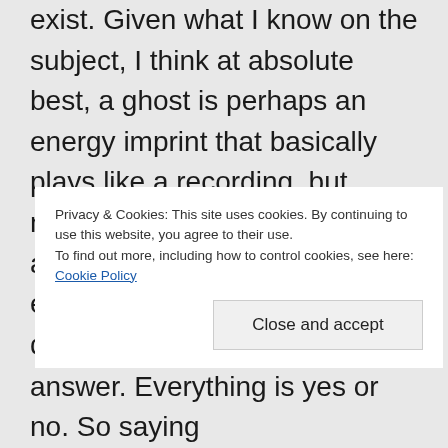exist. Given what I know on the subject, I think at absolute best, a ghost is perhaps an energy imprint that basically plays like a recording, but never does anything or has any impact. Basically negative energy left behind by a disaster or terrible happenstance, but the “ghost” which is a data memory residue of the person wouldn’t be able to do anything. And even that’s pretty farfetched.
Privacy & Cookies: This site uses cookies. By continuing to use this website, you agree to their use. To find out more, including how to control cookies, see here: Cookie Policy
Close and accept
answer. Everything is yes or no. So saying